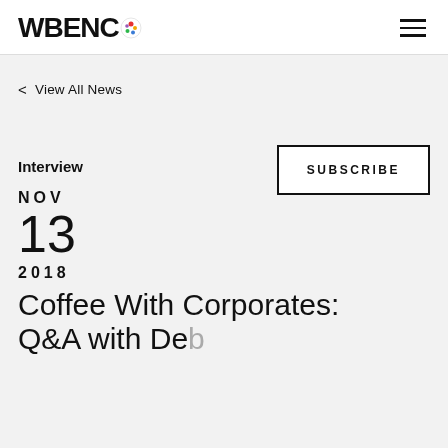WBENC
< View All News
SUBSCRIBE
Interview
NOV
13
2018
Coffee With Corporates: